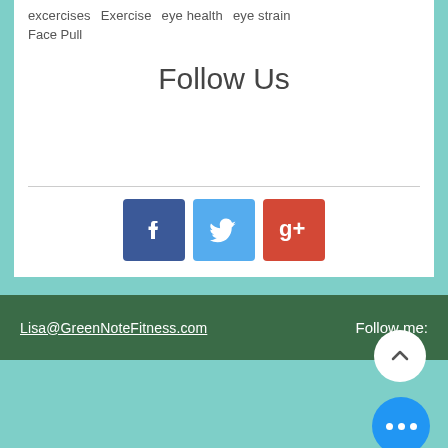excercises   Exercise   eye health   eye strain
Face Pull
Follow Us
[Figure (logo): Social media icons: Facebook (blue), Twitter (cyan), Google+ (red)]
Lisa@GreenNoteFitness.com    Follow me: